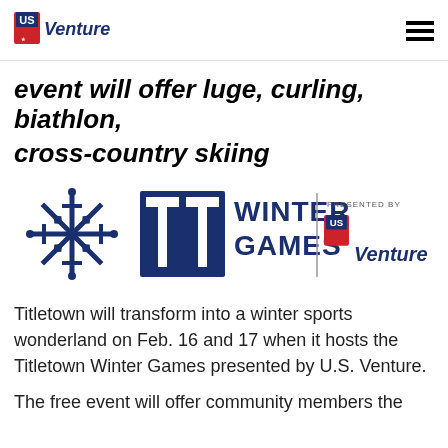US Venture [logo] [hamburger menu]
event will offer luge, curling, biathlon, cross-country skiing
[Figure (logo): Titletown Winter Games presented by US Venture logo — dark blue snowflake and stylized TT mark with text 'WINTER GAMES | PRESENTED BY US Venture']
Titletown will transform into a winter sports wonderland on Feb. 16 and 17 when it hosts the Titletown Winter Games presented by U.S. Venture.
The free event will offer community members the